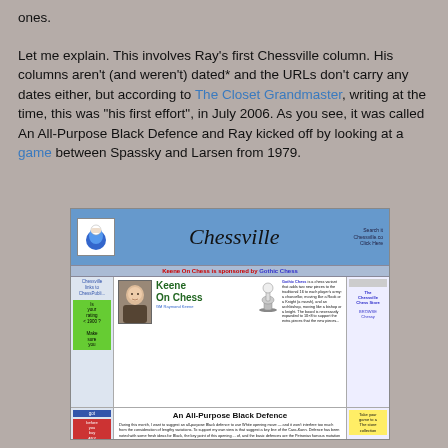ones.
Let me explain. This involves Ray's first Chessville column. His columns aren't (and weren't) dated* and the URLs don't carry any dates either, but according to The Closet Grandmaster, writing at the time, this was "his first effort", in July 2006. As you see, it was called An All-Purpose Black Defence and Ray kicked off by looking at a game between Spassky and Larsen from 1979.
[Figure (screenshot): Screenshot of the Chessville website showing the 'Keene On Chess' column page with 'An All-Purpose Black Defence' article by GM Raymond Keene, featuring a photo of Keene and a Gothic Chess advertisement.]